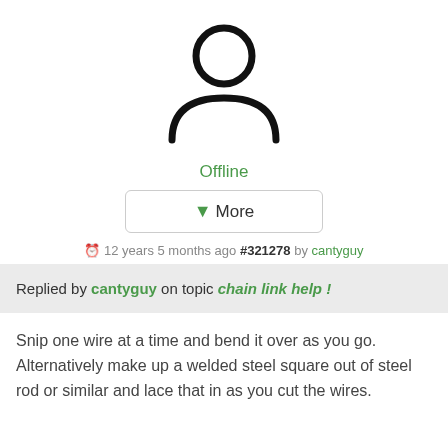[Figure (illustration): Generic user avatar icon — circle head above a half-ellipse body outline, black strokes on white background]
Offline
↓More
12 years 5 months ago #321278 by cantyguy
Replied by cantyguy on topic chain link help !
Snip one wire at a time and bend it over as you go. Alternatively make up a welded steel square out of steel rod or similar and lace that in as you cut the wires.